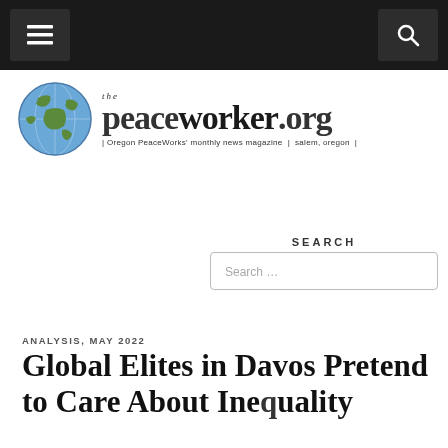Menu | Search
[Figure (logo): The PeaceWorker.org logo with globe graphic. Text reads: 'the peaceworker.org | Oregon PeaceWorks' monthly news magazine | salem, oregon |']
SEARCH
Search …
ANALYSIS, MAY 2022
Global Elites in Davos Pretend to Care About Inequality